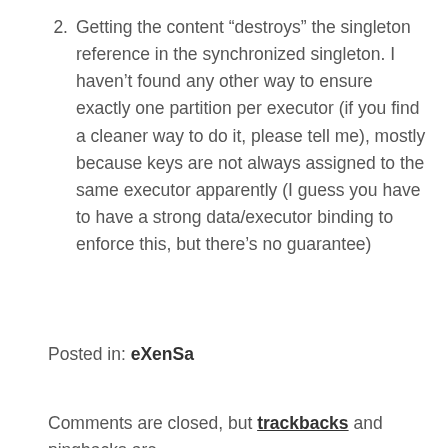2. Getting the content “destroys” the singleton reference in the synchronized singleton. I haven’t found any other way to ensure exactly one partition per executor (if you find a cleaner way to do it, please tell me), mostly because keys are not always assigned to the same executor apparently (I guess you have to have a strong data/executor binding to enforce this, but there’s no guarantee)
Posted in: eXenSa
Comments are closed, but trackbacks and pingbacks are